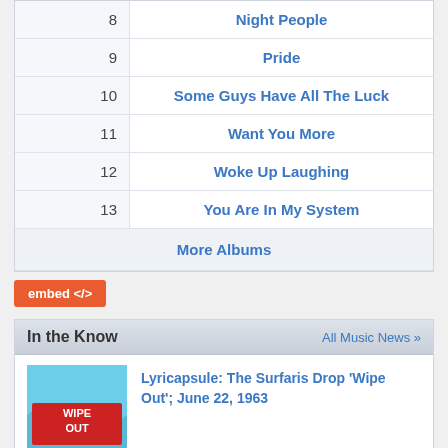| # | Title |
| --- | --- |
| 8 | Night People |
| 9 | Pride |
| 10 | Some Guys Have All The Luck |
| 11 | Want You More |
| 12 | Woke Up Laughing |
| 13 | You Are In My System |
|  | More Albums |
embed </>
In the Know
All Music News »
[Figure (photo): Album cover for The Surfaris 'Wipe Out']
Lyricapsule: The Surfaris Drop 'Wipe Out'; June 22, 1963
[Figure (photo): Black and white photo for RIFF'd: Nas' 'Nasir']
RIFF'd: Nas' 'Nasir'